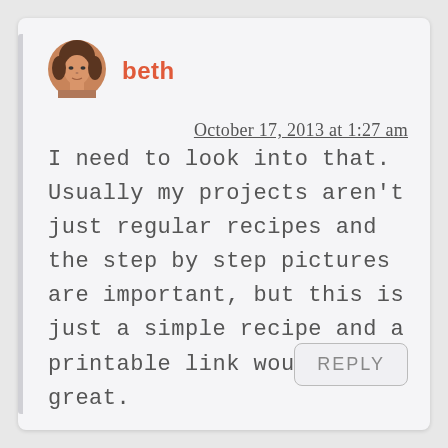[Figure (photo): Circular avatar photo of a woman with curly brown hair]
beth
October 17, 2013 at 1:27 am
I need to look into that. Usually my projects aren't just regular recipes and the step by step pictures are important, but this is just a simple recipe and a printable link would be great.
REPLY